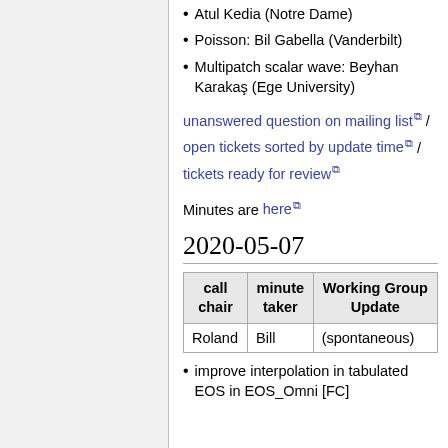Atul Kedia (Notre Dame)
Poisson: Bil Gabella (Vanderbilt)
Multipatch scalar wave: Beyhan Karakaş (Ege University)
unanswered question on mailing list [external link] / open tickets sorted by update time [external link] / tickets ready for review [external link]
Minutes are here [external link]
2020-05-07
| call chair | minute taker | Working Group Update |
| --- | --- | --- |
| Roland | Bill | (spontaneous) |
improve interpolation in tabulated EOS in EOS_Omni [FC]